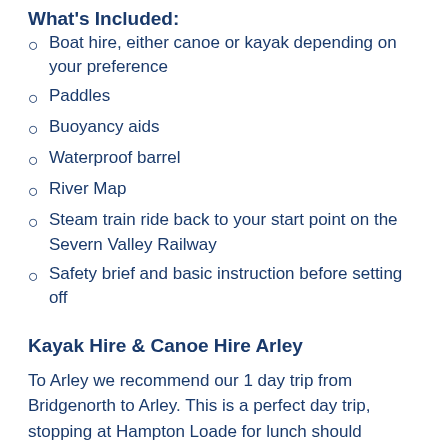What's Included:
Boat hire, either canoe or kayak depending on your preference
Paddles
Buoyancy aids
Waterproof barrel
River Map
Steam train ride back to your start point on the Severn Valley Railway
Safety brief and basic instruction before setting off
Kayak Hire & Canoe Hire Arley
To Arley we recommend our 1 day trip from Bridgenorth to Arley. This is a perfect day trip, stopping at Hampton Loade for lunch should